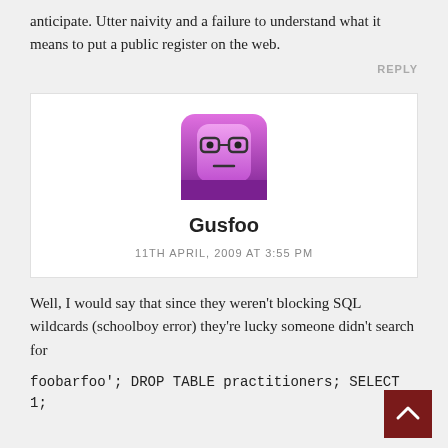anticipate. Utter naivity and a failure to understand what it means to put a public register on the web.
REPLY
[Figure (illustration): Avatar image: a pink/purple rounded square character with glasses and a neutral expression — resembling a cartoon robot face]
Gusfoo
11TH APRIL, 2009 AT 3:55 PM
Well, I would say that since they weren't blocking SQL wildcards (schoolboy error) they're lucky someone didn't search for
foobarfoo'; DROP TABLE practitioners; SELECT 1;